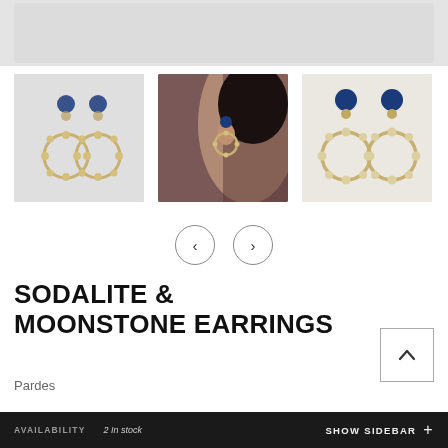[Figure (photo): Top banner image area showing partial product photo, light gray background]
[Figure (photo): Three thumbnail product photos of sodalite and moonstone earrings: left shows pair of earrings on white background, center shows earring worn on a model's ear, right shows pair of earrings on white/beige background]
SODALITE & MOONSTONE EARRINGS
Pardes
[Figure (other): Navigation arrows: left chevron and right chevron buttons in circles for image carousel]
[Figure (other): Back to top button with upward chevron icon]
AVAILABILITY   2 In stock   SHOW SIDEBAR +